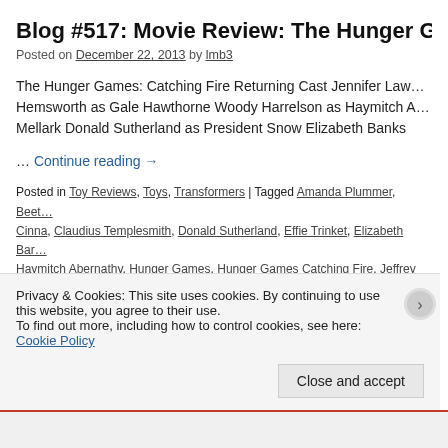Blog #517: Movie Review: The Hunger Ga…
Posted on December 22, 2013 by lmb3
The Hunger Games: Catching Fire Returning Cast Jennifer Law… Hemsworth as Gale Hawthorne Woody Harrelson as Haymitch A… Mellark Donald Sutherland as President Snow Elizabeth Banks … Continue reading →
Posted in Toy Reviews, Toys, Transformers | Tagged Amanda Plummer, Beet… Cinna, Claudius Templesmith, Donald Sutherland, Effie Trinket, Elizabeth Bar… Haymitch Abernathy, Hunger Games, Hunger Games Catching Fire, Jeffrey V… Johanna Mason, Josh Hutcherson, Katniss, Katniss Everdeen, Katniss' Moth… Lynn Cohen, Mags, Movies, Paula Malcomson, Peeta, Peeta Mellark, Philip S… President Snow, Primrose Everdeen, Sam Claflin, Stanley Tucci, The Hunger… me…
Privacy & Cookies: This site uses cookies. By continuing to use this website, you agree to their use. To find out more, including how to control cookies, see here: Cookie Policy
Close and accept